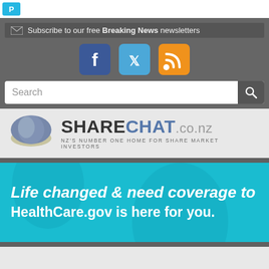[Figure (screenshot): Top white bar with a small blue logo icon in the top-left corner]
Subscribe to our free Breaking News newsletters
[Figure (logo): Social media icons: Facebook (blue square with f), Twitter (cyan square with bird), RSS (orange square with wifi symbol)]
Search
[Figure (logo): ShareChat.co.nz logo with globe icon. Tagline: NZ'S NUMBER ONE HOME FOR SHARE MARKET INVESTORS]
[Figure (other): Advertisement banner with teal background. Text: 'Life changed & need coverage to' and 'HealthCare.gov is here for you.']
Home   News ▾   Markets ▾   Forex ▾